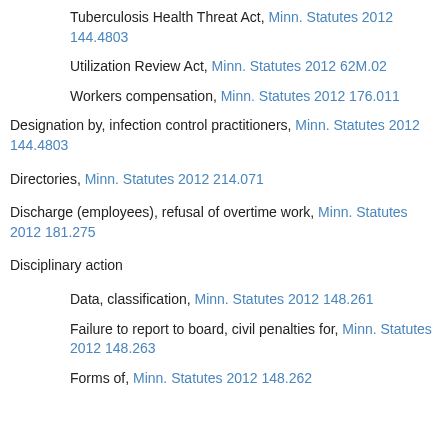Tuberculosis Health Threat Act, Minn. Statutes 2012 144.4803
Utilization Review Act, Minn. Statutes 2012 62M.02
Workers compensation, Minn. Statutes 2012 176.011
Designation by, infection control practitioners, Minn. Statutes 2012 144.4803
Directories, Minn. Statutes 2012 214.071
Discharge (employees), refusal of overtime work, Minn. Statutes 2012 181.275
Disciplinary action
Data, classification, Minn. Statutes 2012 148.261
Failure to report to board, civil penalties for, Minn. Statutes 2012 148.263
Forms of, Minn. Statutes 2012 148.262